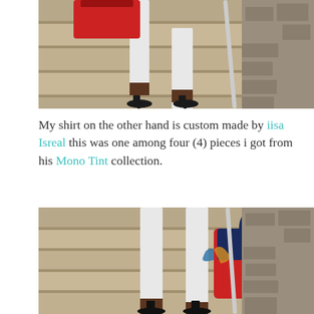[Figure (photo): Close-up photo of a person walking up concrete stairs wearing white tight pants, dark high heel shoes, and carrying a red and navy handbag. A metal railing and stone wall visible on the right.]
My shirt on the other hand is custom made by iisa Isreal this was one among four (4) pieces i got from his Mono Tint collection.
[Figure (photo): Photo of a person standing on concrete stairs wearing white skinny pants and dark high heel pumps, holding a red and navy structured handbag with a decorative scarf tied to the handle. Stone wall and metal railing visible on the right.]